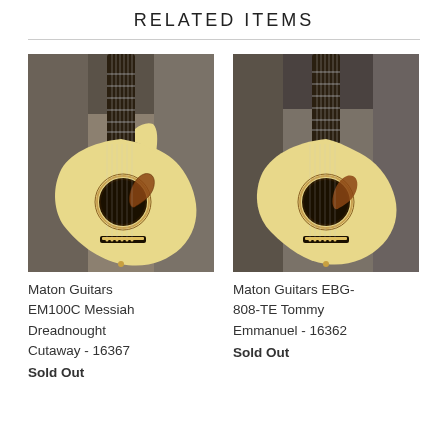RELATED ITEMS
[Figure (photo): Acoustic guitar with cutaway - Maton Guitars EM100C Messiah Dreadnought Cutaway, model 16367]
Maton Guitars EM100C Messiah Dreadnought Cutaway - 16367
Sold Out
[Figure (photo): Acoustic guitar without cutaway - Maton Guitars EBG-808-TE Tommy Emmanuel, model 16362]
Maton Guitars EBG-808-TE Tommy Emmanuel - 16362
Sold Out